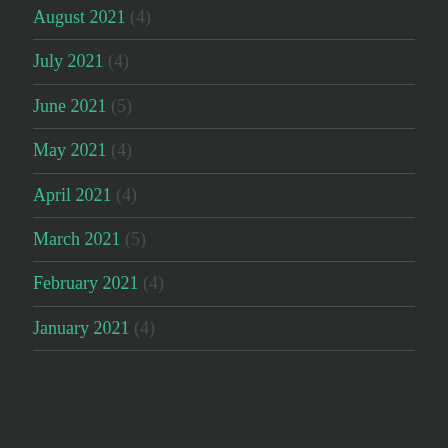August 2021 (4)
July 2021 (4)
June 2021 (5)
May 2021 (4)
April 2021 (4)
March 2021 (5)
February 2021 (4)
January 2021 (4)